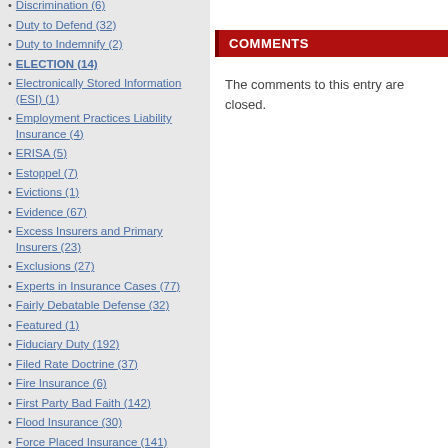Discrimination (6)
Duty to Defend (32)
Duty to Indemnify (2)
ELECTION (14)
Electronically Stored Information (ESI) (1)
Employment Practices Liability Insurance (4)
ERISA (5)
Estoppel (7)
Evictions (1)
Evidence (67)
Excess Insurers and Primary Insurers (23)
Exclusions (27)
Experts in Insurance Cases (77)
Fairly Debatable Defense (32)
Featured (1)
Fiduciary Duty (192)
Filed Rate Doctrine (37)
Fire Insurance (6)
First Party Bad Faith (142)
Flood Insurance (30)
Force Placed Insurance (141)
Foreclosures (64)
COMMENTS
The comments to this entry are closed.